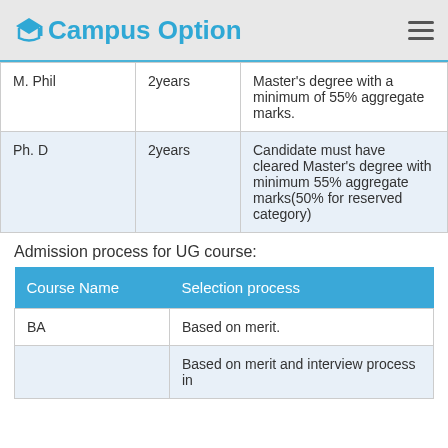Campus Option
| M. Phil | 2years | Master's degree with a minimum of 55% aggregate marks. |
| Ph. D | 2years | Candidate must have cleared Master's degree with minimum 55% aggregate marks(50% for reserved category) |
Admission process for UG course:
| Course Name | Selection process |
| --- | --- |
| BA | Based on merit. |
|  | Based on merit and interview process in |